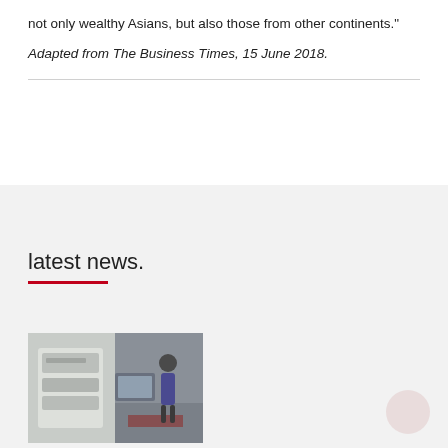not only wealthy Asians, but also those from other continents."
Adapted from The Business Times, 15 June 2018.
latest news.
[Figure (photo): Thumbnail image showing two panels: packaged items on the left and a person exercising/standing in a room on the right]
Coronavirus: Activity kits, exercise videos rolled out for adults with special needs
09/16/2020